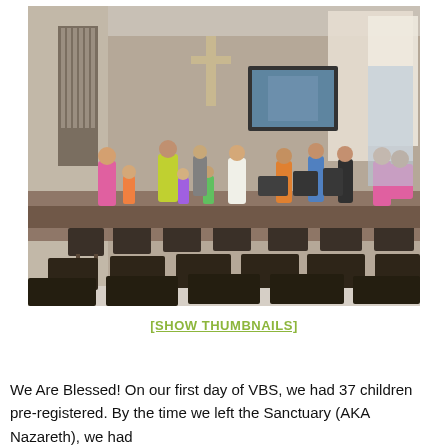[Figure (photo): Interior of a church sanctuary during a Vacation Bible School (VBS) event. Children and adults are gathered near the front stage area. Rows of dark wooden chairs are visible in the foreground. A large projection screen, pipe organ, and cross are visible at the front. The space has high ceilings with large windows letting in natural light.]
[SHOW THUMBNAILS]
We Are Blessed! On our first day of VBS, we had 37 children pre-registered. By the time we left the Sanctuary (AKA Nazareth), we had